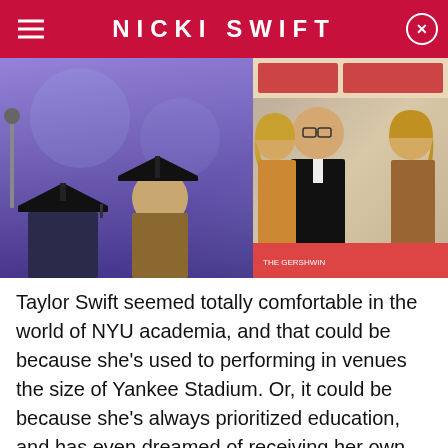NICKI SWIFT
[Figure (photo): Left: graduation ceremony photo with people in caps and gowns against purple background. Right: two blonde women with a man in a suit at a formal event.]
Taylor Swift seemed totally comfortable in the world of NYU academia, and that could be because she's used to performing in venues the size of Yankee Stadium. Or, it could be because she's always prioritized education, and has even dreamed of receiving her own honorary doctorate degree. In a "73 Questions With..." Vogue interview in 2016, Swift was asked about a goal she would still like to achieve in her lifetime. Without missing a beat, the "Mr. Perfectly Fine" singer replied